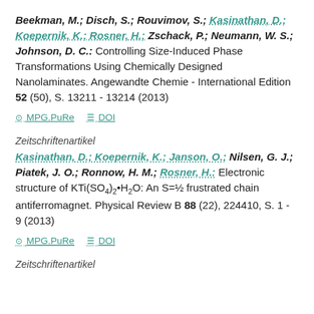Beekman, M.; Disch, S.; Rouvimov, S.; Kasinathan, D.; Koepernik, K.; Rosner, H.; Zschack, P.; Neumann, W. S.; Johnson, D. C.: Controlling Size-Induced Phase Transformations Using Chemically Designed Nanolaminates. Angewandte Chemie - International Edition 52 (50), S. 13211 - 13214 (2013)
MPG.PuRe   DOI
Zeitschriftenartikel
Kasinathan, D.; Koepernik, K.; Janson, O.; Nilsen, G. J.; Piatek, J. O.; Ronnow, H. M.; Rosner, H.: Electronic structure of KTi(SO4)2·H2O: An S=½ frustrated chain antiferromagnet. Physical Review B 88 (22), 224410, S. 1 - 9 (2013)
MPG.PuRe   DOI
Zeitschriftenartikel